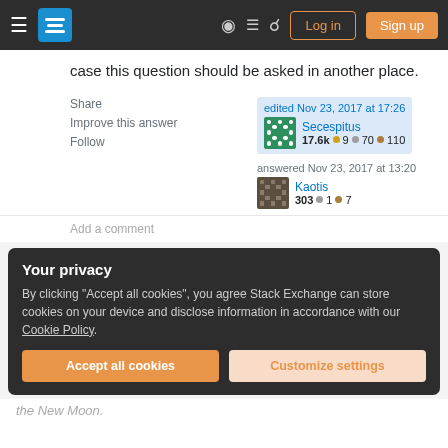Stack Exchange navigation bar with hamburger menu, logo, help, chat, search icons, Log in and Sign up buttons
case this question should be asked in another place.
Share
Improve this answer
Follow
edited Nov 23, 2017 at 17:26
Secespitus
17.6k ● 9 ● 70 ● 110
answered Nov 23, 2017 at 13:20
Kaotis
303 ● 1 ● 7
Add a comment
Your privacy
By clicking "Accept all cookies", you agree Stack Exchange can store cookies on your device and disclose information in accordance with our Cookie Policy.
Accept all cookies
Customize settings
the New Moon.